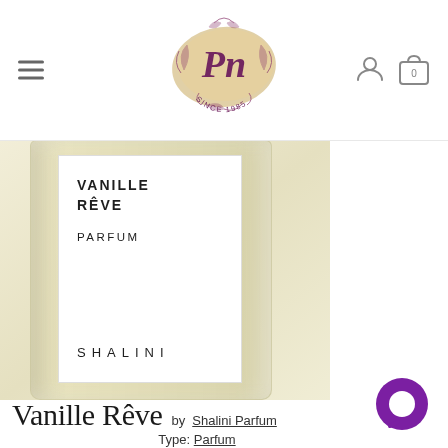[Figure (logo): Parfums Niche logo – circular floral wreath with stylized 'Pn' monogram in purple, 'SINCE 1985' text, gold/tan brushstroke background]
[Figure (photo): Shalini Parfum Vanille Reve bottle – clear glass rectangular bottle with cream/ivory colored perfume, white label reading 'VANILLE REVE / PARFUM / SHALINI' in uppercase]
Vanille Rêve
by Shalini Parfum
Type: Parfum